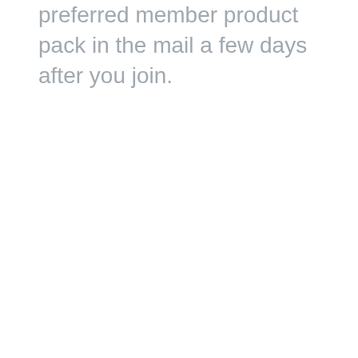preferred member product pack in the mail a few days after you join.